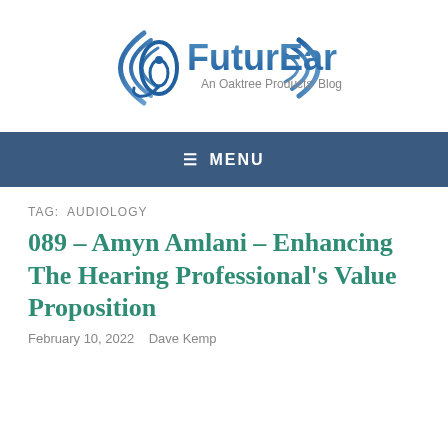[Figure (logo): FuturEar logo — stylized ear icon on the left with sound wave arcs, text 'FuturEar' in blue gradient, subtitle 'An Oaktree Products' Blog']
≡ MENU
TAG: AUDIOLOGY
089 – Amyn Amlani – Enhancing The Hearing Professional's Value Proposition
February 10, 2022   Dave Kemp